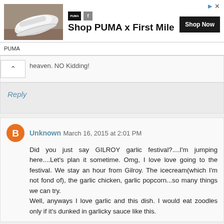[Figure (photo): PUMA advertisement banner showing a white sneaker on a wooden floor, with logos for PUMA and another brand, headline 'Shop PUMA x First Mile', a 'Shop Now' button, and 'PUMA' label below the image.]
heaven. NO Kidding!
Reply
Unknown March 16, 2015 at 2:01 PM
Did you just say GILROY garlic festival?....I'm jumping here....Let's plan it sometime. Omg, I love love going to the festival. We stay an hour from Gilroy. The icecream(which I'm not fond of), the garlic chicken, garlic popcorn...so many things we can try.
Well, anyways I love garlic and this dish. I would eat zoodles only if it's dunked in garlicky sauce like this.